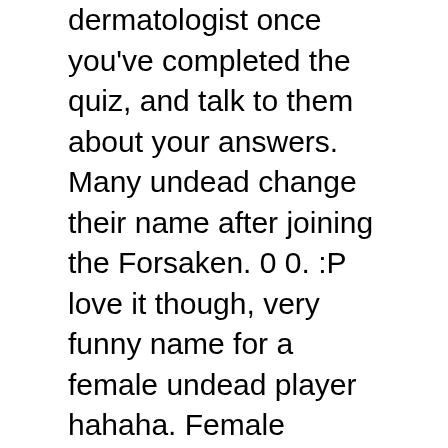dermatologist once you've completed the quiz, and talk to them about your answers. Many undead change their name after joining the Forsaken. 0 0. :P love it though, very funny name for a female undead player hahaha. Female Warrior Names Wow. It seems to be free on most realms, too. Kidadl has a lot of great name articles to inspire you. Some of the races included are Dwarf, Gnome, Human, Elf, Orc, Tauren, Troll and Undead! By TheReal on 2009/11/22 at 11:00 PM (Patch 3.2.2) Make a fire mage and call him Ashes. Bronwenna, named after a character in Human literature, this mage is also good at frost spells. Name. 60. 51. Barnes the Noble. Zazi, named after a bird, she has a cool mage name. Generate a name from all races or specific ones like Dwarf, Gnome, Human, NightElf, Orc, Tauren, Troll and Undead. 32. Titanus Merrybark, named after a high elf mage who lived in the forests, this human mage makes powerful potions from tree barks. This topic is locked. Prezin Toughhook, the cool name of a male human mage who can cast a powerful Frost Nova spell. Male Female. Be a Powerful Mage. Connor. Super surprised it was available. Gorky Eagleboard, named after her